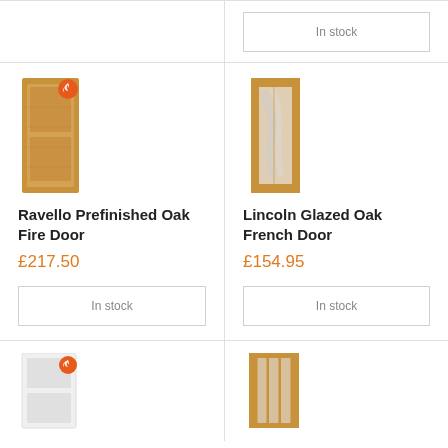In stock
[Figure (photo): Ravello Prefinished Oak Fire Door product image - a wooden door with fire badge]
Ravello Prefinished Oak Fire Door
£217.50
In stock
[Figure (photo): Lincoln Glazed Oak French Door product image - a wooden door with glass panel]
Lincoln Glazed Oak French Door
£154.95
In stock
[Figure (photo): White door product image with fire badge - partial view]
[Figure (photo): Oak door product image - partial view]